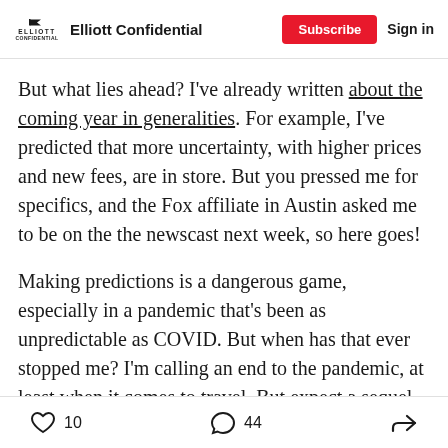Elliott Confidential — Subscribe | Sign in
But what lies ahead? I've already written about the coming year in generalities. For example, I've predicted that more uncertainty, with higher prices and new fees, are in store. But you pressed me for specifics, and the Fox affiliate in Austin asked me to be on the the newscast next week, so here goes!
Making predictions is a dangerous game, especially in a pandemic that's been as unpredictable as COVID. But when has that ever stopped me? I'm calling an end to the pandemic, at least when it comes to travel. But expect a sequel to the travel disruptions. Customer service will probably not improve.
10 likes  44 comments  share